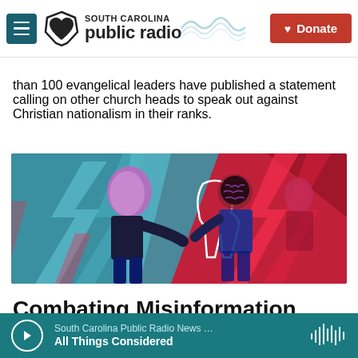South Carolina Public Radio | Donate
than 100 evangelical leaders have published a statement calling on other church heads to speak out against Christian nationalism in their ranks.
[Figure (illustration): Colorful artistic illustration showing two figures in a dynamic composition with bold red, blue, and teal colors, geometric shapes and lightning bolt motifs.]
Combating Misinformation
South Carolina Public Radio News … | All Things Considered